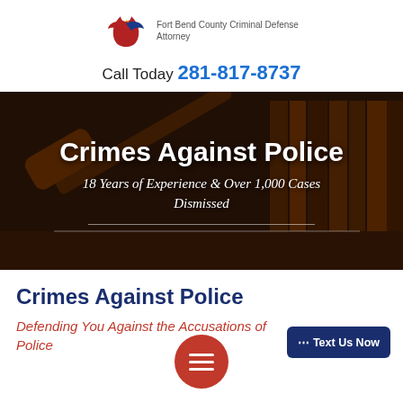[Figure (logo): Eagle/bird logo icon in red, white and blue for a Fort Bend County Criminal Defense Attorney]
Fort Bend County Criminal Defense Attorney
Call Today 281-817-8737
[Figure (photo): Dark background photo of a judge's gavel and law books on a wooden surface]
Crimes Against Police
18 Years of Experience & Over 1,000 Cases Dismissed
Crimes Against Police
Defending You Against the Accusations of Police